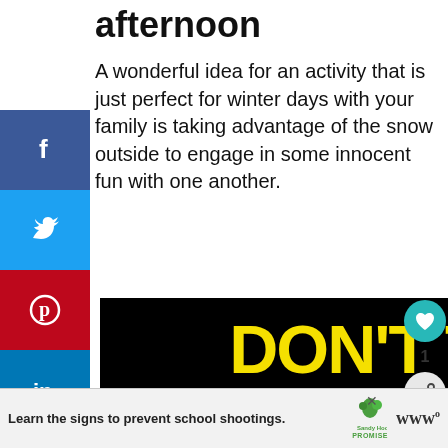afternoon
A wonderful idea for an activity that is just perfect for winter days with your family is taking advantage of the snow outside to engage in some innocent fun with one another.
[Figure (screenshot): Advertisement showing 'DON'T TEXT AND' text with yellow and cyan lettering on black background, with a cartoon red car image. Sandy Hook Promise anti-shooting awareness ad at bottom.]